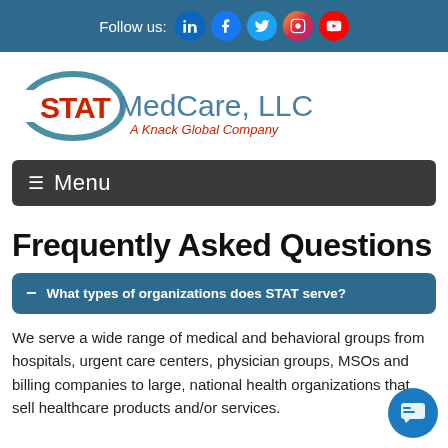Follow us: [LinkedIn] [Facebook] [Twitter] [Instagram] [YouTube]
[Figure (logo): STAT MedCare, LLC — A Knack Global Company logo with blue ellipse and red STAT lettering]
≡ Menu
Frequently Asked Questions
— What types of organizations does STAT serve?
We serve a wide range of medical and behavioral groups from hospitals, urgent care centers, physician groups, MSOs and billing companies to large, national health organizations that sell healthcare products and/or services.